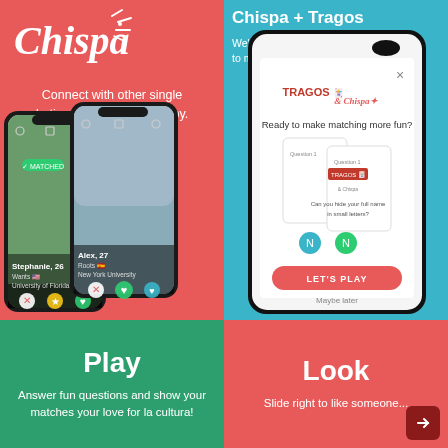[Figure (screenshot): Chispa app screenshot - top left panel showing Chispa logo, tagline 'Connect with other single Latinas and Latinos nearby.' and two phone mockups with dating profiles]
[Figure (screenshot): Chispa + Tragos partnership - top right blue panel showing 'Chispa + Tragos' header, subtitle 'We've partnered with Tragos to make matching more fun!' and phone mockup with Tragos & Chispa game screen showing 'LET'S PLAY' button]
[Figure (infographic): Bottom left green panel with 'Play' heading and text 'Answer fun questions and show your matches your love for la cultura!']
[Figure (infographic): Bottom right red panel with 'Look' heading and text 'Slide right to like someone...' with arrow button]